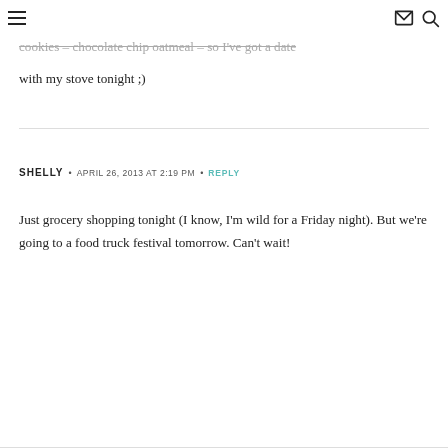navigation and icons
cookies – chocolate chip oatmeal – so I've got a date with my stove tonight ;)
SHELLY • APRIL 26, 2013 AT 2:19 PM • REPLY
Just grocery shopping tonight (I know, I'm wild for a Friday night). But we're going to a food truck festival tomorrow. Can't wait!